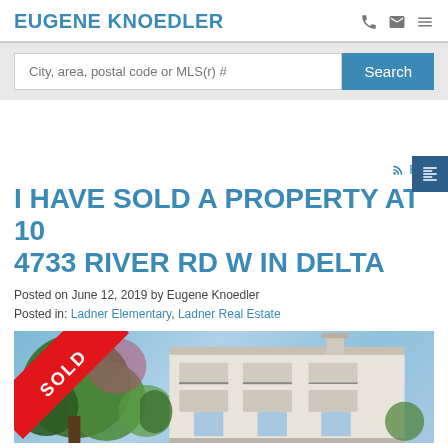EUGENE KNOEDLER
City, area, postal code or MLS(r) #
Search
RSS
I HAVE SOLD A PROPERTY AT 105 4733 RIVER RD W IN DELTA
Posted on June 12, 2019 by Eugene Knoedler
Posted in: Ladner Elementary, Ladner Real Estate
[Figure (photo): Exterior photo of a multi-storey residential building with balconies and chimney, blue sky background, trees in foreground, with a red SOLD ribbon banner overlay in the top-left corner.]